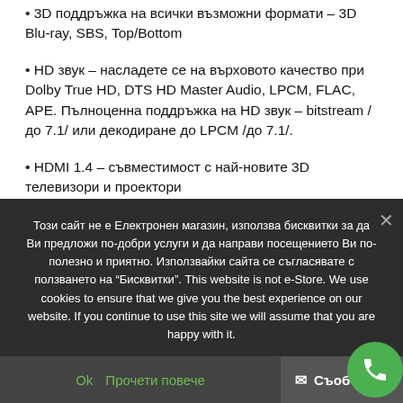3D поддръжка на всички възможни формати – 3D Blu-ray, SBS, Top/Bottom
HD звук – насладете се на върховото качество при Dolby True HD, DTS HD Master Audio, LPCM, FLAC, APE. Пълноценна поддръжка на HD звук – bitstream /до 7.1/ или декодиране до LPCM /до 7.1/.
HDMI 1.4 – съвместимост с най-новите 3D телевизори и проектори
Възпроизвеждане на видео, музика, снимки от всякакъв
Този сайт не е Електронен магазин, използва бисквитки за да Ви предложи по-добри услуги и да направи посещението Ви по-полезно и приятно. Използвайки сайта се съгласявате с ползването на "Бисквитки". This website is not e-Store. We use cookies to ensure that we give you the best experience on our website. If you continue to use this site we will assume that you are happy with it.
Ok  Прочети повече  Съоб...